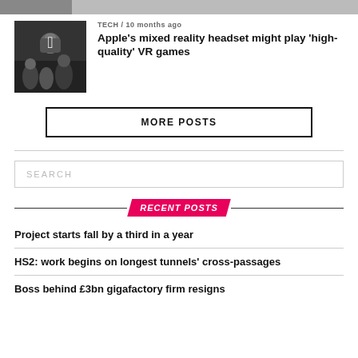[Figure (photo): Partial top image strip showing bottom edge of a photo]
[Figure (photo): Thumbnail photo of Apple store event with people and Apple logo visible]
TECH / 10 months ago
Apple’s mixed reality headset might play ‘high-quality’ VR games
MORE POSTS
SEARCH
RECENT POSTS
Project starts fall by a third in a year
HS2: work begins on longest tunnels’ cross-passages
Boss behind £3bn gigafactory firm resigns